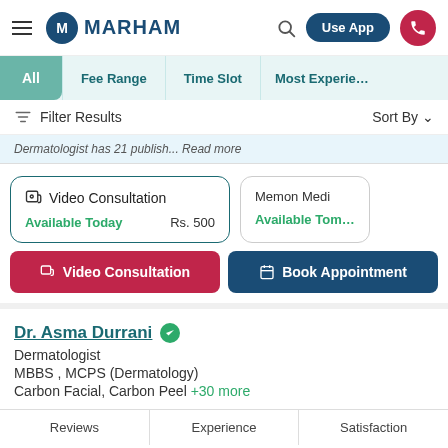MARHAM — Use App
All
Fee Range
Time Slot
Most Experie…
Filter Results   Sort By
Dermatologist has 21 publish... Read more
Video Consultation  Available Today  Rs. 500
Memon Medi  Available Tom…
Video Consultation   Book Appointment
Dr. Asma Durrani
Dermatologist
MBBS , MCPS (Dermatology)
Carbon Facial, Carbon Peel +30 more
Reviews   Experience   Satisfaction